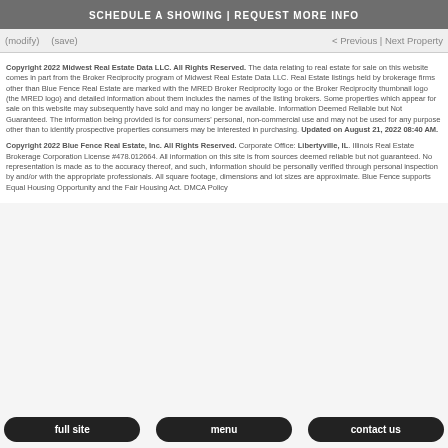SCHEDULE A SHOWING | REQUEST MORE INFO
(modify)   (save)   < Previous | Next Property
Copyright 2022 Midwest Real Estate Data LLC. All Rights Reserved. The data relating to real estate for sale on this website comes in part from the Broker Reciprocity program of Midwest Real Estate Data LLC. Real Estate listings held by brokerage firms other than Blue Fence Real Estate are marked with the MRED Broker Reciprocity logo or the Broker Reciprocity thumbnail logo (the MRED logo) and detailed information about them includes the names of the listing brokers. Some properties which appear for sale on this website may subsequently have sold and may no longer be available. Information Deemed Reliable but Not Guaranteed. The information being provided is for consumers' personal, non-commercial use and may not be used for any purpose other than to identify prospective properties consumers may be interested in purchasing. Updated on August 21, 2022 08:40 AM.
Copyright 2022 Blue Fence Real Estate, Inc. All Rights Reserved. Corporate Office: Libertyville, IL. Illinois Real Estate Brokerage Corporation License #478.012664. All information on this site is from sources deemed reliable but not guaranteed. No representation is made as to the accuracy thereof, and such, information should be personally verified through personal inspection by and/or with the appropriate professionals. All square footage, dimensions and lot sizes are approximate. Blue Fence supports Equal Housing Opportunity and the Fair Housing Act. DMCA Policy
full site   menu   contact us